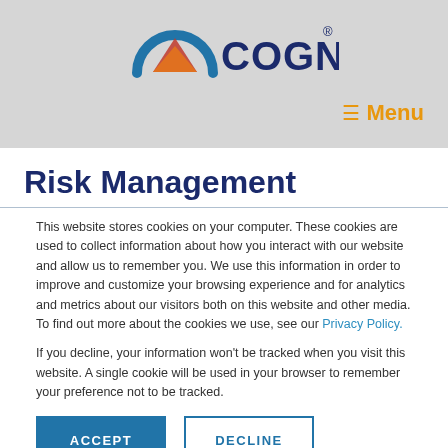[Figure (logo): Cognition logo with arc icon in blue and orange/red, and 'COGNITION' text in dark navy with registered trademark symbol]
≡  Menu
Risk Management
This website stores cookies on your computer. These cookies are used to collect information about how you interact with our website and allow us to remember you. We use this information in order to improve and customize your browsing experience and for analytics and metrics about our visitors both on this website and other media. To find out more about the cookies we use, see our Privacy Policy.
If you decline, your information won't be tracked when you visit this website. A single cookie will be used in your browser to remember your preference not to be tracked.
ACCEPT   DECLINE